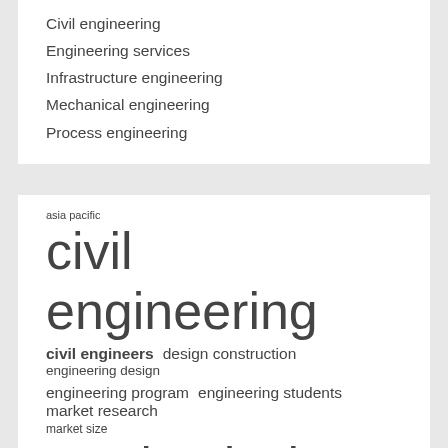Civil engineering
Engineering services
Infrastructure engineering
Mechanical engineering
Process engineering
[Figure (infographic): Tag cloud with engineering-related keywords in varying font sizes: 'civil engineering' (largest), 'mechanical engineering' (large), 'payday loans' (large), 'civil engineers', 'design construction', 'engineering design', 'engineering program', 'engineering students', 'market research', 'market size', 'mechanical engineers', 'middle east', 'north america', 'united states', 'asia pacific' (smallest)]